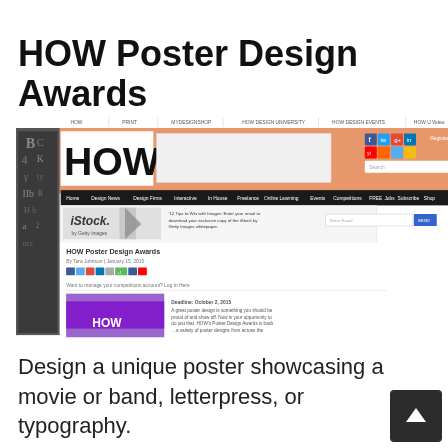HOW Poster Design Awards
[Figure (screenshot): Screenshot of the HOW Design website showing the HOW Poster Design Awards article page, with navigation menu, HOW logo, iStock advertisement, and article header with social media icons and a deadline of October 2, 2015.]
Design a unique poster showcasing a movie or band, letterpress, or typography.